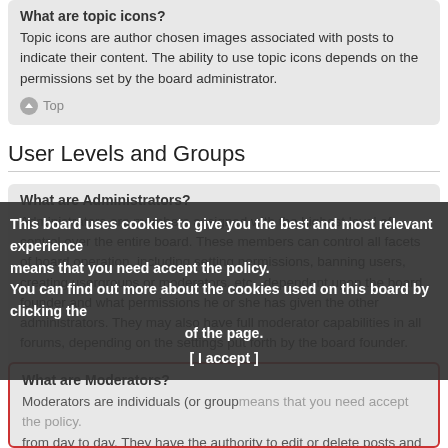What are topic icons?
Topic icons are author chosen images associated with posts to indicate their content. The ability to use topic icons depends on the permissions set by the board administrator.
Top
User Levels and Groups
What are Administrators?
Administrators are members assigned with the highest level of control over the entire board. These members can control all facets of board operation, including setting permissions, banning users, creating usergroups or moderators, etc., dependent upon the board founder and what permissions he or she has given the other administrators. They may also have full moderator capabilities in all forums, depending on the settings put forth by the board founder.
Top
What are Moderators?
Moderators are individuals (or group... from day to day. They have the authority to edit or delete posts and lock, unlock, move, delete and split topics in the forum they moderate. Generally, moderators are present to prevent users from going off-topic or posting
This board uses cookies to give you the best and most relevant experience means that you need accept the policy. You can find out more about the cookies used on this board by clicking the of the page.
[ I accept ]